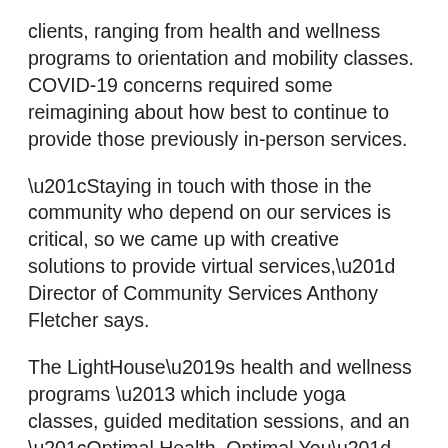clients, ranging from health and wellness programs to orientation and mobility classes. COVID-19 concerns required some reimagining about how best to continue to provide those previously in-person services.
“Staying in touch with those in the community who depend on our services is critical, so we came up with creative solutions to provide virtual services,” Director of Community Services Anthony Fletcher says.
The LightHouse’s health and wellness programs – which include yoga classes, guided meditation sessions, and an “Optimal Health, Optimal You” class in which participants set weekly health goals – is now offered virtually using Zoom and other apps. A previously in-person, six-week orientation and mobility program prepares participants to travel independently through online training using GPS and